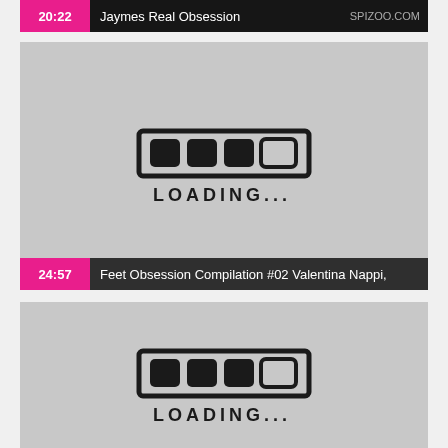[Figure (screenshot): Partial video thumbnail strip at top showing timestamp 20:22 and title 'Jaymes Real Obsession' with spizoo.com watermark]
[Figure (screenshot): Video thumbnail placeholder showing loading animation (progress bar icon and LOADING... text) with timestamp 24:57 and title 'Feet Obsession Compilation #02 Valentina Nappi,']
[Figure (screenshot): Video thumbnail placeholder showing loading animation (progress bar icon and LOADING... text), partially visible at bottom of page]